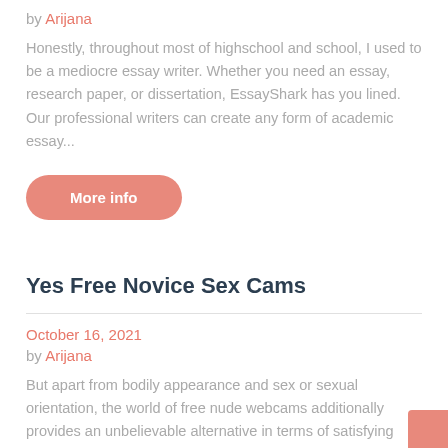by Arijana
Honestly, throughout most of highschool and school, I used to be a mediocre essay writer. Whether you need an essay, research paper, or dissertation, EssayShark has you lined. Our professional writers can create any form of academic essay...
More info
Yes Free Novice Sex Cams
October 16, 2021
by Arijana
But apart from bodily appearance and sex or sexual orientation, the world of free nude webcams additionally provides an unbelievable alternative in terms of satisfying your fantasies.